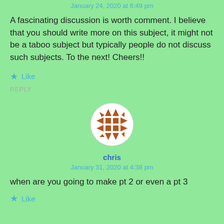January 24, 2020 at 6:49 pm
A fascinating discussion is worth comment. I believe that you should write more on this subject, it might not be a taboo subject but typically people do not discuss such subjects. To the next! Cheers!!
Like
REPLY
[Figure (illustration): Circular avatar icon with brown geometric pattern on white background]
chris
January 31, 2020 at 4:38 pm
when are you going to make pt 2 or even a pt 3
Like